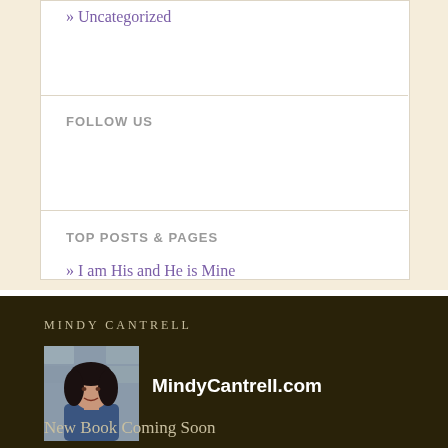» Uncategorized
FOLLOW US
TOP POSTS & PAGES
» I am His and He is Mine
MINDY CANTRELL
[Figure (photo): Headshot photo of Mindy Cantrell, a woman with dark hair, smiling, in front of a stone wall background]
MindyCantrell.com
New Book Coming Soon